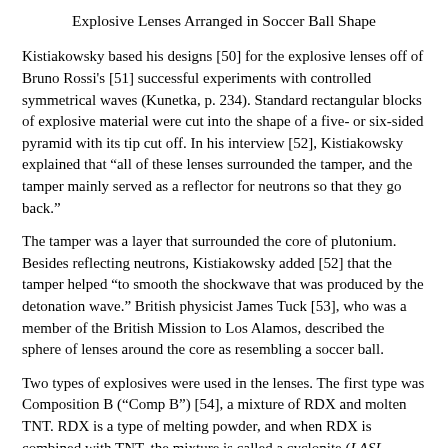Explosive Lenses Arranged in Soccer Ball Shape
Kistiakowsky based his designs [50] for the explosive lenses off of Bruno Rossi's [51] successful experiments with controlled symmetrical waves (Kunetka, p. 234). Standard rectangular blocks of explosive material were cut into the shape of a five- or six-sided pyramid with its tip cut off. In his interview [52], Kistiakowsky explained that “all of these lenses surrounded the tamper, and the tamper mainly served as a reflector for neutrons so that they go back.”
The tamper was a layer that surrounded the core of plutonium. Besides reflecting neutrons, Kistiakowsky added [52] that the tamper helped “to smooth the shockwave that was produced by the detonation wave.” British physicist James Tuck [53], who was a member of the British Mission to Los Alamos, described the sphere of lenses around the core as resembling a soccer ball.
Two types of explosives were used in the lenses. The first type was Composition B (“Comp B”) [54], a mixture of RDX and molten TNT. RDX is a type of melting powder, and when RDX is combined with TNT, the mixture is called a cyclonite (LASL Explosive Property Data, p. 11). According to Kistiakowsky [55], RDX was chosen because one of his “associate organic chemists, also the Dr. [Wigner] Bachman [56] of the University of…